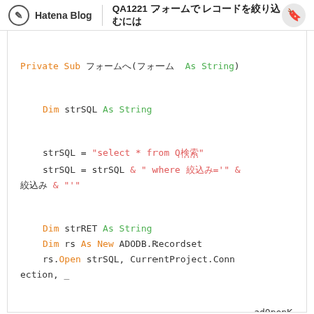Hatena Blog | QA1221 フォームで レコードを絞り込むには
[Figure (screenshot): VBA code snippet showing Private Sub with strSQL query building and ADODB.Recordset usage]